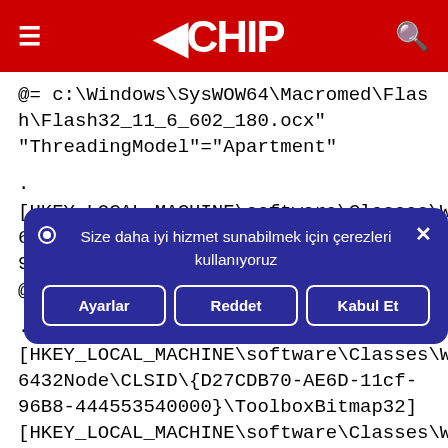CHIP
@= c:\Windows\SysWOW64\Macromedia\Flash\Flash32_11_6_602_180.ocx"
"ThreadingModel"="Apartment"
.
[HKEY_LOCAL_MACHINE\software\Classes\Wow6432Node\CLSID\{D27CDB70-AE6D-11cf-96B8-444553540000}\ProgID]
@="FlashFactory.FlashFactory.1"
.
[HKEY_LOCAL_MACHINE\software\Classes\Wow6432Node\CLSID\{D27CDB70-AE6D-11cf-96B8-444553540000}\ToolboxBitmap32]
[Figure (screenshot): Cookie consent banner with text 'Size daha iyi hizmet sunabilmek için çerezleri kullanıyoruz' and three buttons: Ayarlar, Reddet, Kabul Et]
[HKEY_LOCAL_MACHINE\software\Classes\Wow